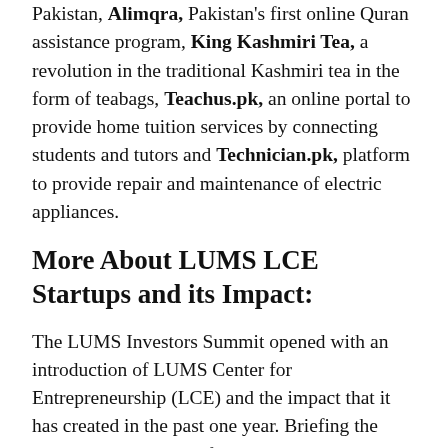Pakistan, Alimqra, Pakistan's first online Quran assistance program, King Kashmiri Tea, a revolution in the traditional Kashmiri tea in the form of teabags, Teachus.pk, an online portal to provide home tuition services by connecting students and tutors and Technician.pk, platform to provide repair and maintenance of electric appliances.
More About LUMS LCE Startups and its Impact:
The LUMS Investors Summit opened with an introduction of LUMS Center for Entrepreneurship (LCE) and the impact that it has created in the past one year. Briefing the audience, Khurram Zafar, Executive Director, LUMS Center for Entrepreneurship (LCE), advised that since it...